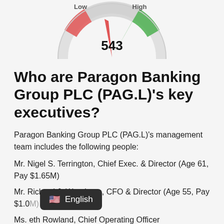[Figure (other): Gauge/speedometer dial showing score 543, with Low label on left (red arrow) and High label on right (green arrow), partial view cropped at top]
Who are Paragon Banking Group PLC (PAG.L)'s key executives?
Paragon Banking Group PLC (PAG.L)'s management team includes the following people:
Mr. Nigel S. Terrington, Chief Exec. & Director (Age 61, Pay $1.65M)
Mr. Richard J. Woodman, CFO & Director (Age 55, Pay $1.0[M])
Ms. [Eliz]abeth Rowland, Chief Operating Officer